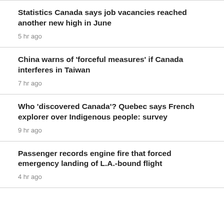Statistics Canada says job vacancies reached another new high in June
5 hr ago
China warns of 'forceful measures' if Canada interferes in Taiwan
7 hr ago
Who 'discovered Canada'? Quebec says French explorer over Indigenous people: survey
9 hr ago
Passenger records engine fire that forced emergency landing of L.A.-bound flight
4 hr ago